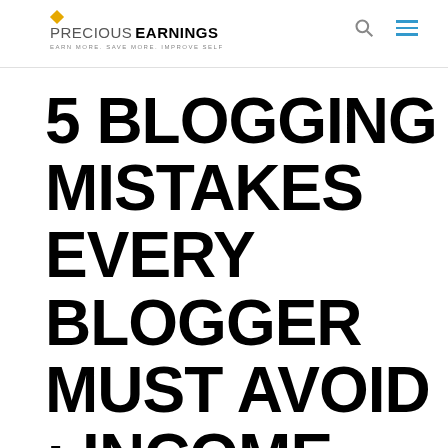PRECIOUS EARNINGS · EARN MORE. SAVE MORE. IMPROVE SELF
5 BLOGGING MISTAKES EVERY BLOGGER MUST AVOID : INCOME REPORT £2